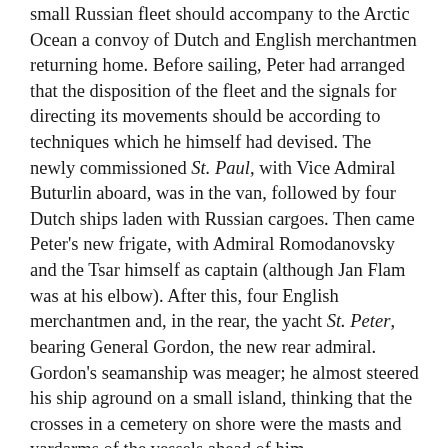small Russian fleet should accompany to the Arctic Ocean a convoy of Dutch and English merchantmen returning home. Before sailing, Peter had arranged that the disposition of the fleet and the signals for directing its movements should be according to techniques which he himself had devised. The newly commissioned St. Paul, with Vice Admiral Buturlin aboard, was in the van, followed by four Dutch ships laden with Russian cargoes. Then came Peter's new frigate, with Admiral Romodanovsky and the Tsar himself as captain (although Jan Flam was at his elbow). After this, four English merchantmen and, in the rear, the yacht St. Peter, bearing General Gordon, the new rear admiral. Gordon's seamanship was meager; he almost steered his ship aground on a small island, thinking that the crosses in a cemetery on shore were the masts and yardarms of the vessels ahead of him.
Peter's fleet escorted the convoy as far as Svyatoy Nos on the Kola Peninsula, east of Murmansk. Here, the White Sea